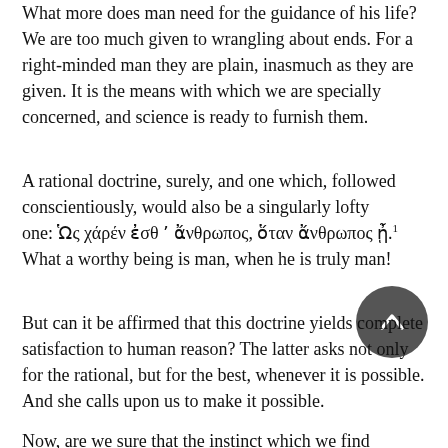What more does man need for the guidance of his life? We are too much given to wrangling about ends. For a right-minded man they are plain, inasmuch as they are given. It is the means with which we are specially concerned, and science is ready to furnish them.
A rational doctrine, surely, and one which, followed conscientiously, would also be a singularly lofty one: Ὡς χάρέν ἐσθ ʼ ἄνθρωπος, ὅταν ἄνθρωπος ᾖ.¹ What a worthy being is man, when he is truly man!
But can it be affirmed that this doctrine yields complete satisfaction to human reason? The latter asks not only for the rational, but for the best, whenever it is possible. And she calls upon us to make it possible.
Now, are we sure that the instinct which we find